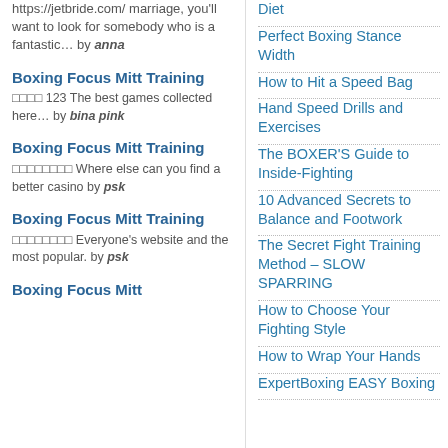https://jetbride.com/ marriage, you'll want to look for somebody who is a fantastic… by anna
Boxing Focus Mitt Training
□□□□ 123 The best games collected here… by bina pink
Boxing Focus Mitt Training
□□□□□□□□ Where else can you find a better casino by psk
Boxing Focus Mitt Training
□□□□□□□□ Everyone's website and the most popular. by psk
Boxing Focus Mitt
Diet
Perfect Boxing Stance Width
How to Hit a Speed Bag
Hand Speed Drills and Exercises
The BOXER'S Guide to Inside-Fighting
10 Advanced Secrets to Balance and Footwork
The Secret Fight Training Method – SLOW SPARRING
How to Choose Your Fighting Style
How to Wrap Your Hands
ExpertBoxing EASY Boxing